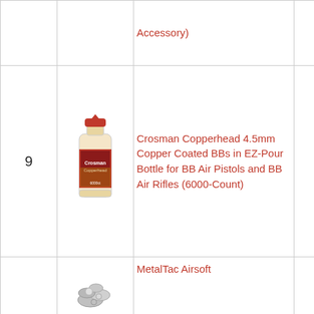| # | Image | Product | Price | Buy |
| --- | --- | --- | --- | --- |
|  |  | Accessory) |  |  |
| 9 | [image] | Crosman Copperhead 4.5mm Copper Coated BBs in EZ-Pour Bottle for BB Air Pistols and BB Air Rifles (6000-Count) | $9.60 | Buy on Amazon |
|  | [image] | MetalTac Airsoft |  |  |